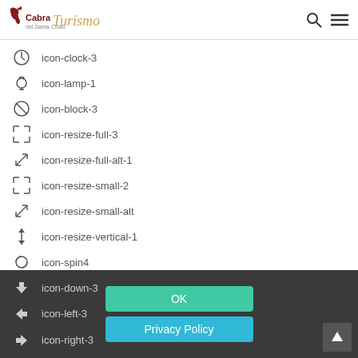Cabra Turismo — navigation header with logo, search and menu icons
icon-clock-3
icon-lamp-1
icon-block-3
icon-resize-full-3
icon-resize-full-alt-1
icon-resize-small-2
icon-resize-small-alt
icon-resize-vertical-1
icon-spin4
icon-move-2
icon-popup-3
icon-down-3
icon-left-3
icon-right-3
OK | Privacy Policy buttons overlay on dark footer bar with back-to-top button